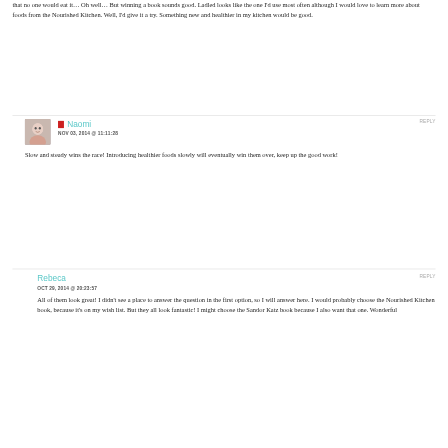that no one would eat it… Oh well… But winning a book sounds good. Ladled looks like the one I'd use most often although I would love to learn more about foods from the Nourished Kitchen. Well, I'd give it a try. Something new and healthier in my kitchen would be good.
REPLY
Naomi
NOV 03, 2014 @ 11:11:28
Slow and steady wins the race! Introducing healthier foods slowly will eventually win them over, keep up the good work!
REPLY
Rebeca
OCT 29, 2014 @ 20:23:57
All of them look great! I didn't see a place to answer the question in the first option, so I will answer here. I would probably choose the Nourished Kitchen book, because it's on my wish list. But they all look fantastic! I might choose the Sandor Katz book because I also want that one. Wonderful